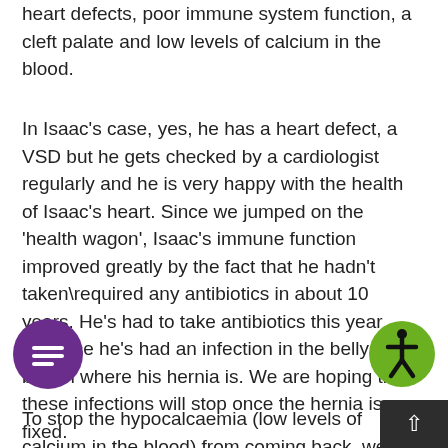heart defects, poor immune system function, a cleft palate and low levels of calcium in the blood.
In Isaac's case, yes, he has a heart defect, a VSD but he gets checked by a cardiologist regularly and he is very happy with the health of Isaac's heart. Since we jumped on the 'health wagon', Isaac's immune function improved greatly by the fact that he hadn't taken\required any antibiotics in about 10 years. He's had to take antibiotics this year because he's had an infection in the belly button where his hernia is. We are hoping that these infections will stop once the hernia is fixed.
To stop the hypocalcaemia (low levels of calcium in the blood) from coming back, we
[Figure (other): Green circular accessibility icon with black human figure symbol]
[Figure (other): Purple circular chat/message button with white lines icon]
[Figure (other): Dark grey scroll-to-top button with upward arrow]